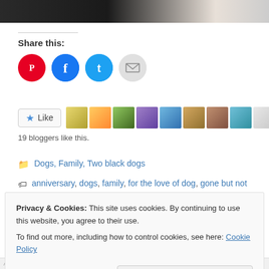[Figure (photo): Top portion of a photo showing a dog, partially cropped at top of page]
Share this:
[Figure (infographic): Social share buttons: Pinterest (red), Facebook (blue), Twitter (light blue), Email (grey)]
[Figure (infographic): Like button with star icon and row of 11 blogger thumbnail photos]
19 bloggers like this.
Dogs, Family, Two black dogs
anniversary, dogs, family, for the love of dog, gone but not forgotten, in memory, losing a pet, love, Maxi, tribute to my dog
Privacy & Cookies: This site uses cookies. By continuing to use this website, you agree to their use.
To find out more, including how to control cookies, see here: Cookie Policy
Close and accept